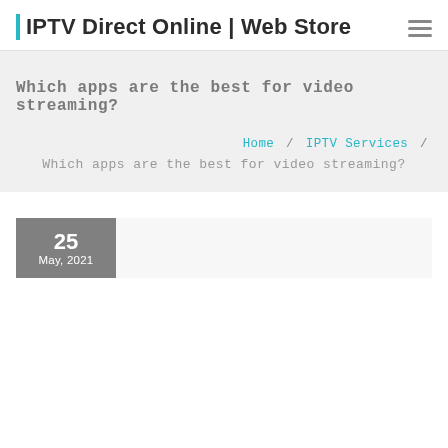IPTV Direct Online | Web Store
Which apps are the best for video streaming?
Home / IPTV Services / Which apps are the best for video streaming?
25
May, 2021